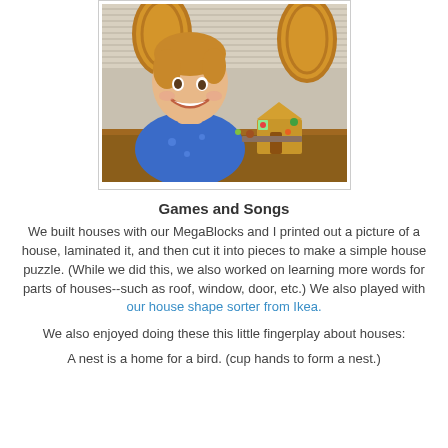[Figure (photo): A smiling toddler in a blue space-themed shirt sitting at a wooden table, with a small gingerbread house craft visible on the table behind him. Wooden chairs and striped blinds visible in background.]
Games and Songs
We built houses with our MegaBlocks and I printed out a picture of a house, laminated it, and then cut it into pieces to make a simple house puzzle. (While we did this, we also worked on learning more words for parts of houses--such as roof, window, door, etc.) We also played with our house shape sorter from Ikea.
We also enjoyed doing these this little fingerplay about houses:
A nest is a home for a bird. (cup hands to form a nest.)